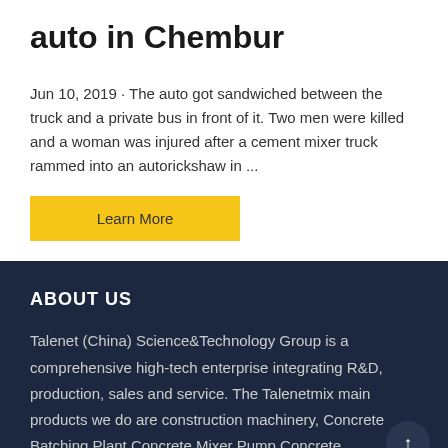auto in Chembur
Jun 10, 2019 · The auto got sandwiched between the truck and a private bus in front of it. Two men were killed and a woman was injured after a cement mixer truck rammed into an autorickshaw in ...
Learn More
ABOUT US
Talenet (China) Science&Technology Group is a comprehensive high-tech enterprise integrating R&D, production, sales and service. The Talenetmix main products we do are construction machinery, Concrete Batching Plant,Concrete Mixer Pump,Concrete Pump,Concrete Mixer,Self Loading Concrete Mixer,Concrete